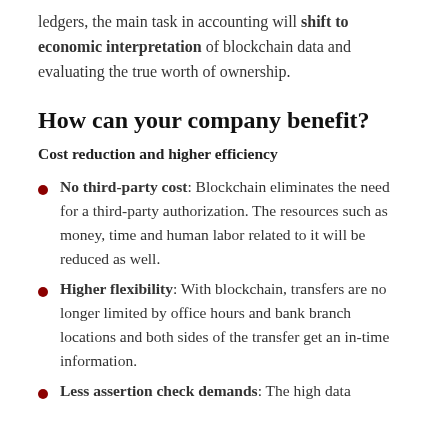ledgers, the main task in accounting will shift to economic interpretation of blockchain data and evaluating the true worth of ownership.
How can your company benefit?
Cost reduction and higher efficiency
No third-party cost: Blockchain eliminates the need for a third-party authorization. The resources such as money, time and human labor related to it will be reduced as well.
Higher flexibility: With blockchain, transfers are no longer limited by office hours and bank branch locations and both sides of the transfer get an in-time information.
Less assertion check demands: The high data